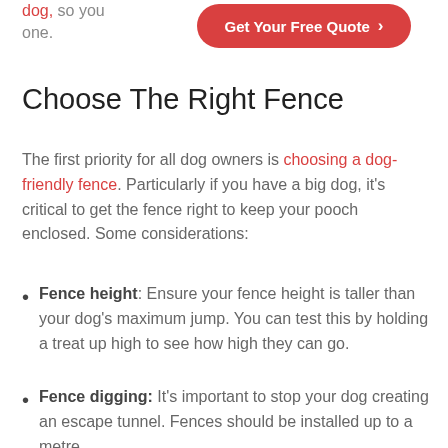dog, so you... from day one.
[Figure (other): Red rounded button with white text 'Get Your Free Quote >']
Choose The Right Fence
The first priority for all dog owners is choosing a dog-friendly fence. Particularly if you have a big dog, it's critical to get the fence right to keep your pooch enclosed. Some considerations:
Fence height: Ensure your fence height is taller than your dog's maximum jump. You can test this by holding a treat up high to see how high they can go.
Fence digging: It's important to stop your dog creating an escape tunnel. Fences should be installed up to a metre...